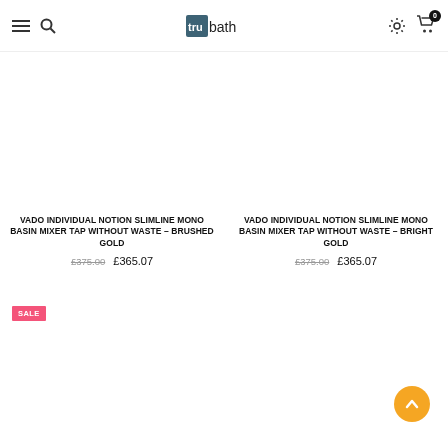trubath navigation bar with menu, search, logo, settings, cart (0)
VADO INDIVIDUAL NOTION SLIMLINE MONO BASIN MIXER TAP WITHOUT WASTE – BRUSHED GOLD £375.00 £365.07
VADO INDIVIDUAL NOTION SLIMLINE MONO BASIN MIXER TAP WITHOUT WASTE – BRIGHT GOLD £375.00 £365.07
SALE